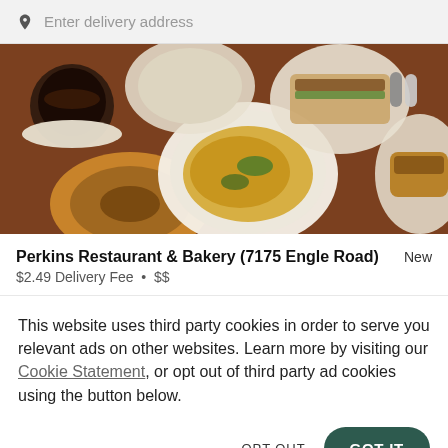Enter delivery address
[Figure (photo): Overhead view of restaurant dishes on a table including bagels, omelets, sandwiches, and a cup of coffee]
Perkins Restaurant & Bakery (7175 Engle Road)   New
$2.49 Delivery Fee • $$
This website uses third party cookies in order to serve you relevant ads on other websites. Learn more by visiting our Cookie Statement, or opt out of third party ad cookies using the button below.
OPT OUT
GOT IT